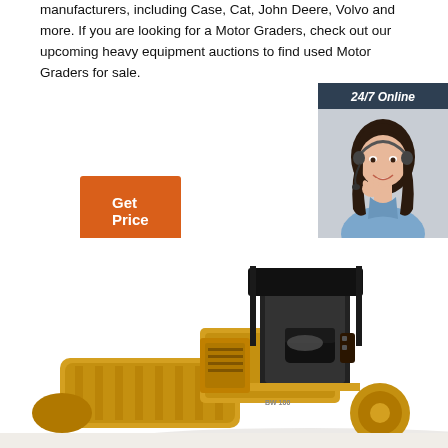manufacturers, including Case, Cat, John Deere, Volvo and more. If you are looking for a Motor Graders, check out our upcoming heavy equipment auctions to find used Motor Graders for sale.
[Figure (other): Orange 'Get Price' button]
[Figure (other): 24/7 Online chat widget with a female customer service representative wearing a headset. Includes 'Click here for free chat!' text and an orange QUOTATION button.]
[Figure (photo): Yellow heavy equipment machine (motor grader / road roller) photographed from the side showing the cab and roller drum.]